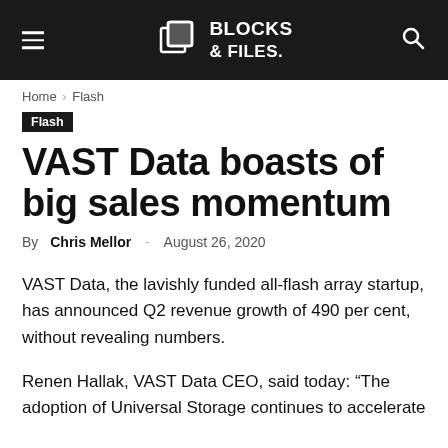BLOCKS & FILES.
Home › Flash
Flash
VAST Data boasts of big sales momentum
By Chris Mellor - August 26, 2020
VAST Data, the lavishly funded all-flash array startup, has announced Q2 revenue growth of 490 per cent, without revealing numbers.
Renen Hallak, VAST Data CEO, said today: “The adoption of Universal Storage continues to accelerate